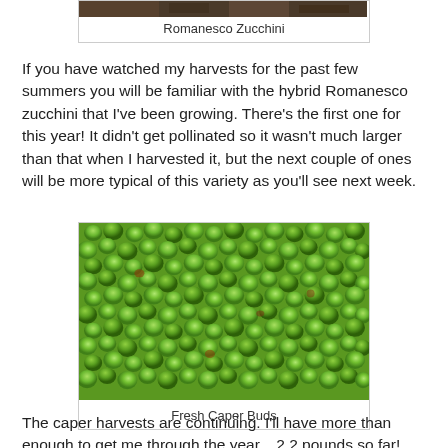[Figure (photo): Top portion of a Romanesco Zucchini photo, showing dark soil/ground]
Romanesco Zucchini
If you have watched my harvests for the past few summers you will be familiar with the hybrid Romanesco zucchini that I've been growing. There's the first one for this year! It didn't get pollinated so it wasn't much larger than that when I harvested it, but the next couple of ones will be more typical of this variety as you'll see next week.
[Figure (photo): A tray filled with many small round green Fresh Caper Buds]
Fresh Caper Buds
The caper harvests are continuing. I'll have more than enough to get me through the year... 2.2 pounds so far!